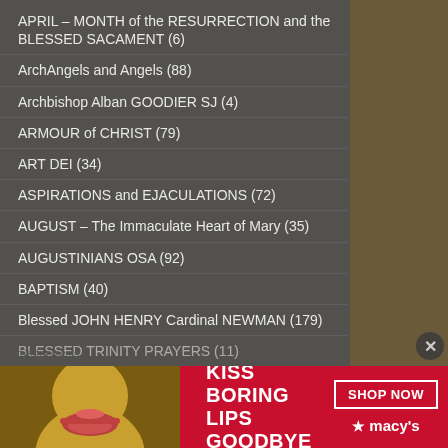APRIL – MONTH of the RESURRECTION and the BLESSED SACAMENT (6)
ArchAngels and Angels (88)
Archbishop Alban GOODIER SJ (4)
ARMOUR of CHRIST (79)
ART DEI (34)
ASPIRATIONS and EJACULATIONS (72)
AUGUST – The Immaculate Heart of Mary (35)
AUGUSTINIANS OSA (92)
BAPTISM (40)
Blessed JOHN HENRY Cardinal NEWMAN (179)
BLESSED TRINITY PRAYERS (11)
[Figure (illustration): Advertisement banner for Macy's: 'KISS BORING LIPS GOODBYE' with SHOP NOW button and Macy's logo]
Advertisements